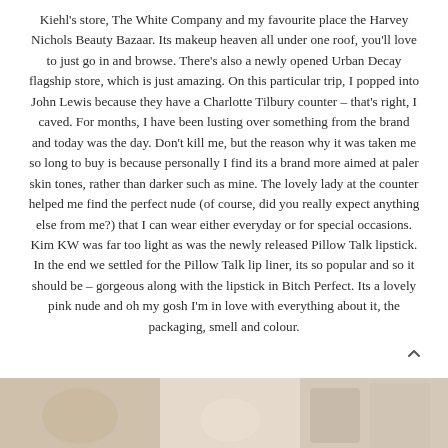Kiehl's store, The White Company and my favourite place the Harvey Nichols Beauty Bazaar. Its makeup heaven all under one roof, you'll love to just go in and browse. There's also a newly opened Urban Decay flagship store, which is just amazing. On this particular trip, I popped into John Lewis because they have a Charlotte Tilbury counter – that's right, I caved. For months, I have been lusting over something from the brand and today was the day. Don't kill me, but the reason why it was taken me so long to buy is because personally I find its a brand more aimed at paler skin tones, rather than darker such as mine. The lovely lady at the counter helped me find the perfect nude (of course, did you really expect anything else from me?) that I can wear either everyday or for special occasions. Kim KW was far too light as was the newly released Pillow Talk lipstick. In the end we settled for the Pillow Talk lip liner, its so popular and so it should be – gorgeous along with the lipstick in Bitch Perfect. Its a lovely pink nude and oh my gosh I'm in love with everything about it, the packaging, smell and colour.
[Figure (photo): Partial view of a photo strip at the bottom showing beauty/makeup products, cropped at page edge]